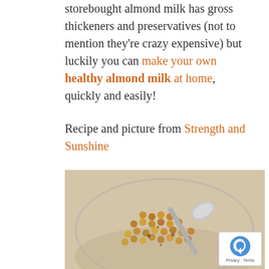...I recommend almond milk. Most storebought almond milk has gross thickeners and preservatives (not to mention they're crazy expensive) but luckily you can make your own healthy almond milk at home, quickly and easily!
Recipe and picture from Strength and Sunshine
[Figure (photo): A glass bowl filled with roasted chickpeas and a silver spoon, photographed from above on a light wooden surface.]